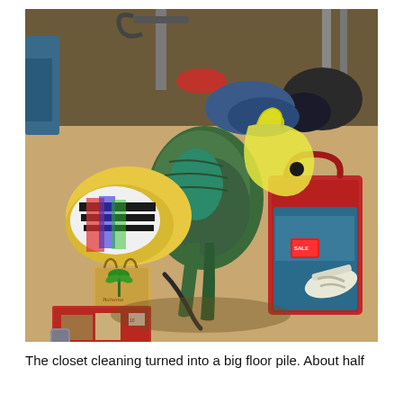[Figure (photo): A room floor covered with a large pile of clothes, bags, and shoes spread out during a closet cleaning session. Visible items include colorful folded clothes, a green knit sweater/robe, a brown Bahama Breeze paper bag, a red storage bag containing teal and dark clothing, a large yellow plastic bag, white sandals, a red shoe box, and exercise equipment (barbell, weight bench) in the background.]
The closet cleaning turned into a big floor pile. About half